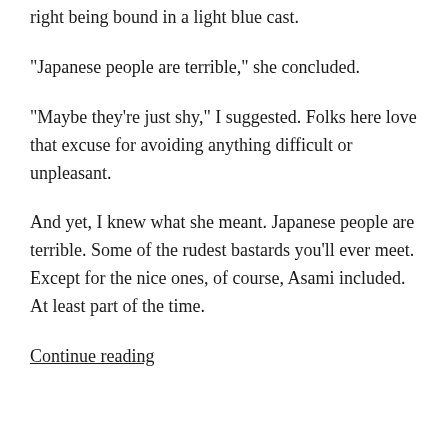right being bound in a light blue cast.
“Japanese people are terrible,” she concluded.
“Maybe they’re just shy,” I suggested. Folks here love that excuse for avoiding anything difficult or unpleasant.
And yet, I knew what she meant. Japanese people are terrible. Some of the rudest bastards you’ll ever meet. Except for the nice ones, of course, Asami included. At least part of the time.
Continue reading
MARCH 31, 2021
Japanese Values